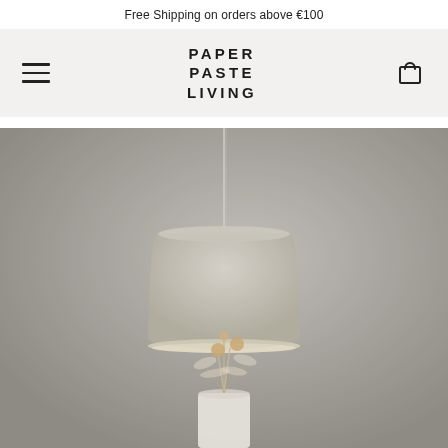Free Shipping on orders above €100
[Figure (logo): Paper Paste Living brand logo in bold uppercase letters]
[Figure (photo): A light grey textured pendant lamp shade hanging from a wire cord against a muted grey wall, with dried flowers in a white vase below]